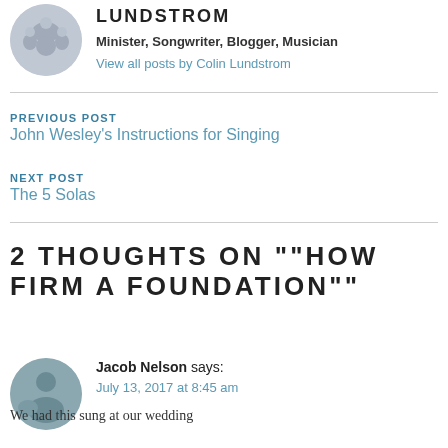[Figure (photo): Circular avatar photo of Colin Lundstrom with family in white shirts]
LUNDSTROM
Minister, Songwriter, Blogger, Musician
View all posts by Colin Lundstrom
PREVIOUS POST
John Wesley's Instructions for Singing
NEXT POST
The 5 Solas
2 THOUGHTS ON ""HOW FIRM A FOUNDATION""
[Figure (photo): Circular avatar photo of Jacob Nelson with a dog outdoors]
Jacob Nelson says:
July 13, 2017 at 8:45 am
We had this sung at our wedding